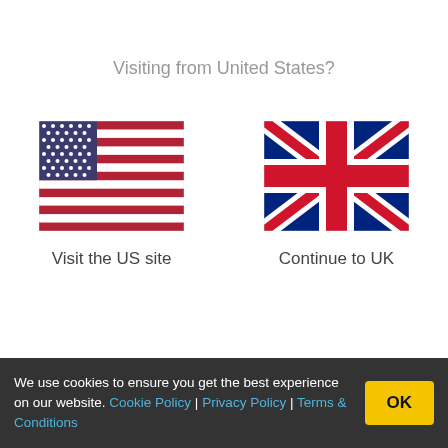Visiting from United States?
[Figure (illustration): US flag]
Visit the US site
[Figure (illustration): UK flag]
Continue to UK
compression sack
You'll use your dryrobe much more than you think, it will live in your car and be a lifesaver on many a cold morning or chilly evening.
Dryrobe Advance is one tough bit of kit, it's designed to stand the wear and tear of sporty and active lifestyles, cold conditions and any challenge you face. A compression travel bag is available for increased storage and portability.
We use cookies to ensure you get the best experience on our website. Cookie Policy | Privacy Policy | Terms & Conditions